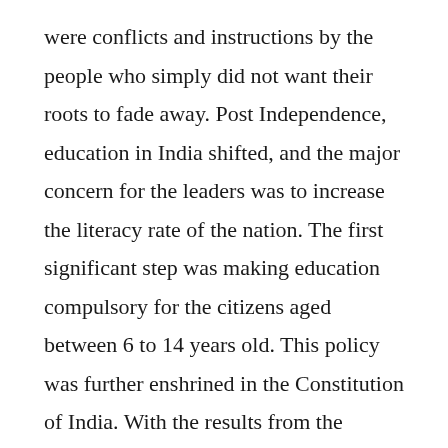were conflicts and instructions by the people who simply did not want their roots to fade away. Post Independence, education in India shifted, and the major concern for the leaders was to increase the literacy rate of the nation. The first significant step was making education compulsory for the citizens aged between 6 to 14 years old. This policy was further enshrined in the Constitution of India. With the results from the census, India saw a literacy growth of 74.04 in 2011. Literacy has also been a challenge in India due to various factors, such as social, political, gender biases, and many more. However, the nation continuously sees a growth in the female literacy rate, which is core for family planning and population stabilization. As per the census results in 2011, the growth for female literacy stood at 11.8%